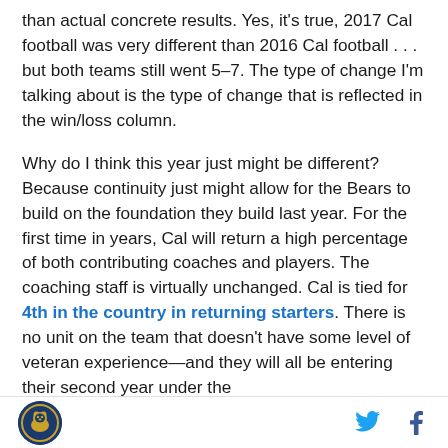than actual concrete results. Yes, it's true, 2017 Cal football was very different than 2016 Cal football . . . but both teams still went 5–7. The type of change I'm talking about is the type of change that is reflected in the win/loss column.
Why do I think this year just might be different? Because continuity just might allow for the Bears to build on the foundation they build last year. For the first time in years, Cal will return a high percentage of both contributing coaches and players. The coaching staff is virtually unchanged. Cal is tied for 4th in the country in returning starters. There is no unit on the team that doesn't have some level of veteran experience—and they will all be entering their second year under the
[Figure (logo): Cal Bears circular logo on dark blue background with bear mascot]
[Figure (logo): Twitter bird icon in blue]
[Figure (logo): Facebook f icon in dark blue]